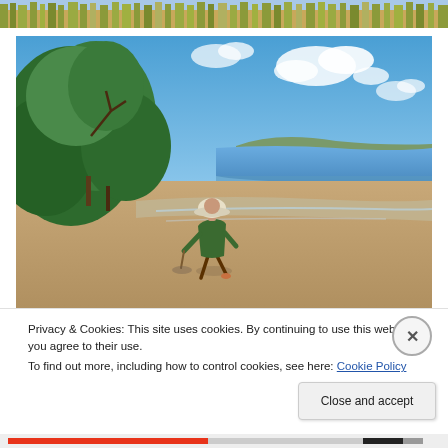[Figure (photo): Cropped top strip showing grassy sand dunes with golden/green grass]
[Figure (photo): Beach scene with a child in a hat and green outfit playing on sandy shoreline, with green trees on the left, blue sky with clouds overhead, and calm blue water in the background]
Privacy & Cookies: This site uses cookies. By continuing to use this website, you agree to their use.
To find out more, including how to control cookies, see here: Cookie Policy
Close and accept